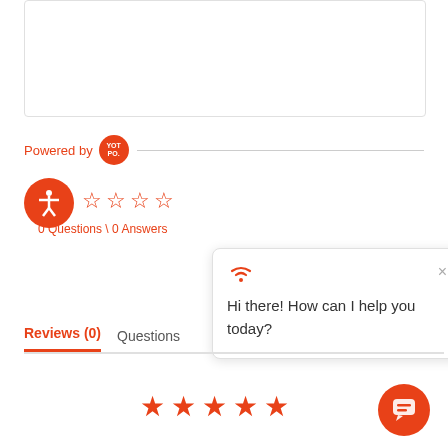[Figure (screenshot): White rounded rectangle box at top of page, partially visible]
Powered by YOTPO.
[Figure (logo): Accessibility icon - orange circle with person figure]
[Figure (infographic): Four empty star rating icons in orange]
0 Questions \ 0 Answers
[Figure (screenshot): Chat popup with wifi icon, close X, and message: Hi there! How can I help you today?]
Reviews (0)
Questions
[Figure (infographic): Five filled orange star rating icons]
[Figure (logo): Orange circle chat bubble button with speech bubble icon]